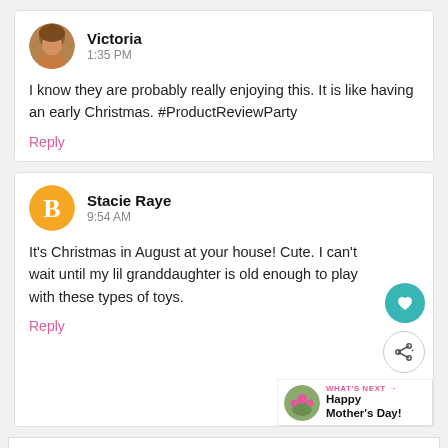[Figure (screenshot): Comment card from Victoria. Avatar photo of a woman with blonde hair. Username: Victoria. Time: 1:35 PM. Comment: I know they are probably really enjoying this. It is like having an early Christmas. #ProductReviewParty. Reply link in pink.]
[Figure (screenshot): Comment card from Stacie Raye. Avatar is orange Blogger icon. Username: Stacie Raye. Time: 9:54 AM. Comment: It's Christmas in August at your house! Cute. I can't wait until my lil granddaughter is old enough to play with these types of toys. Reply link in pink. Floating teal heart button, share button. What's Next promo with photo and text Happy Mother's Day!]
[Figure (screenshot): Ad bar. McAlister's Deli. Ashburn OPEN 10:30AM-9PM. 44155 Ashbrook Marketplace, .... Navigation arrow icon. Close X button.]